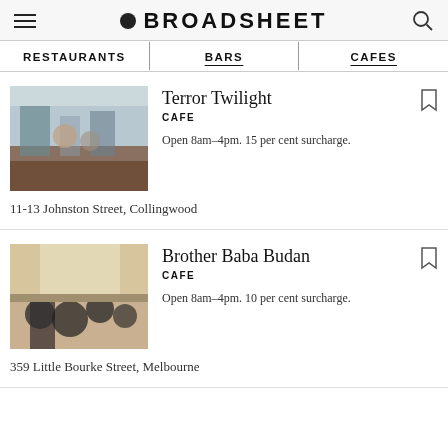BROADSHEET
RESTAURANTS | BARS | CAFES
Terror Twilight
CAFE
Open 8am–4pm. 15 per cent surcharge.
11-13 Johnston Street, Collingwood
Brother Baba Budan
CAFE
Open 8am–4pm. 10 per cent surcharge.
359 Little Bourke Street, Melbourne